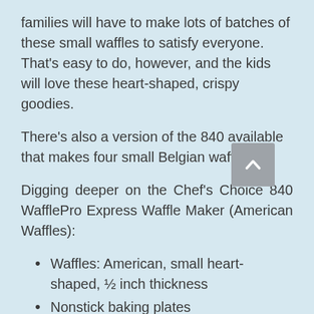families will have to make lots of batches of these small waffles to satisfy everyone. That's easy to do, however, and the kids will love these heart-shaped, crispy goodies.
There's also a version of the 840 available that makes four small Belgian waffles.
Digging deeper on the Chef's Choice 840 WafflePro Express Waffle Maker (American Waffles):
Waffles: American, small heart-shaped, ½ inch thickness
Nonstick baking plates